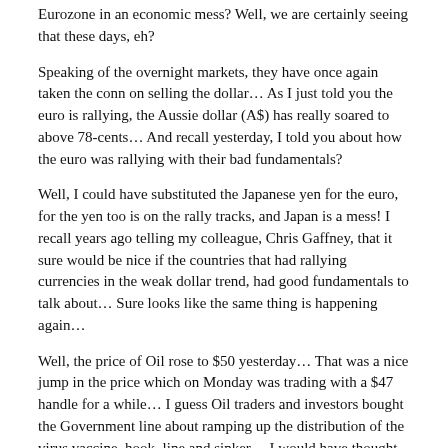Eurozone in an economic mess? Well, we are certainly seeing that these days, eh?
Speaking of the overnight markets, they have once again taken the conn on selling the dollar… As I just told you the euro is rallying, the Aussie dollar (A$) has really soared to above 78-cents… And recall yesterday, I told you about how the euro was rallying with their bad fundamentals?
Well, I could have substituted the Japanese yen for the euro, for the yen too is on the rally tracks, and Japan is a mess! I recall years ago telling my colleague, Chris Gaffney, that it sure would be nice if the countries that had rallying currencies in the weak dollar trend, had good fundamentals to talk about… Sure looks like the same thing is happening again…
Well, the price of Oil rose to $50 yesterday… That was a nice jump in the price which on Monday was trading with a $47 handle for a while… I guess Oil traders and investors bought the Government line about ramping up the distribution of the virus vaccine, hook, line and sinker… I would have thought that they would wait and see if what the Gov't said really came to fruition… But NOOOOOOO! The dollar is falling, daily, it seems, and Oil is a anti-dollar investment, which is